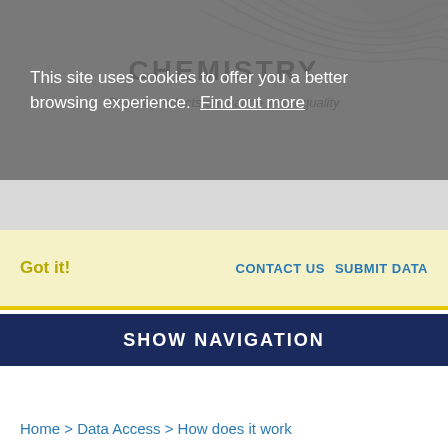CHEMISTRY
Data & products on marine water quality
This site uses cookies to offer you a better browsing experience. Find out more
Got it!    CONTACT US    SUBMIT DATA
SHOW NAVIGATION
Home > Data Access > How does it work